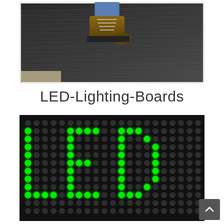[Figure (photo): Close-up photo of a person's boot standing on dark gray ribbed/grooved rubber or composite decking material with fine linear texture patterns]
LED-Lighting-Boards
[Figure (photo): Close-up photo of an LED dot matrix display board showing green illuminated dots forming letters 'LED' against a dark/black background grid of circular LED elements]